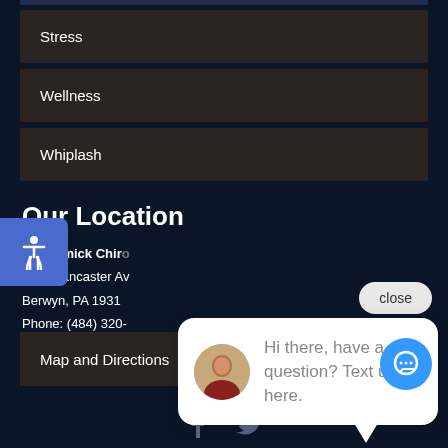Stress
Wellness
Whiplash
Our Location
McCormick Chiro
1199 Lancaster Av
Berwyn, PA 1931
Phone: (484) 320-
Map and Directions
Hi there, have a question? Text us here.
Facebook Twitter social icons